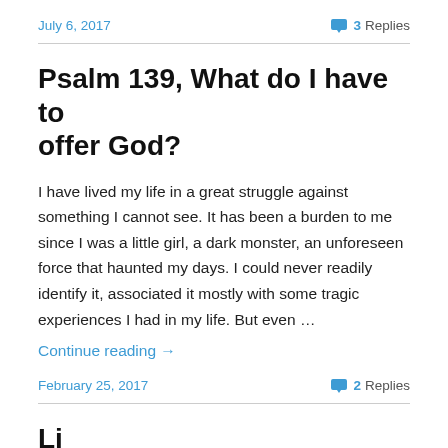July 6, 2017   3 Replies
Psalm 139, What do I have to offer God?
I have lived my life in a great struggle against something I cannot see. It has been a burden to me since I was a little girl, a dark monster, an unforeseen force that haunted my days. I could never readily identify it, associated it mostly with some tragic experiences I had in my life. But even …
Continue reading →
February 25, 2017   2 Replies